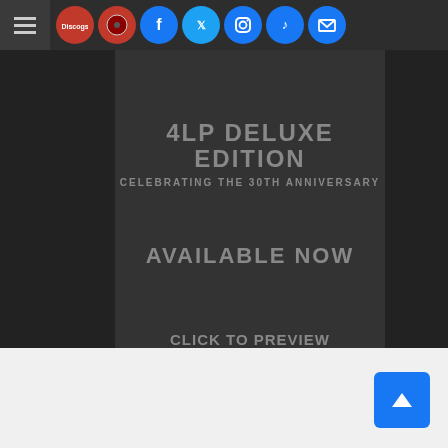Navigation bar with hamburger menu, Discogs icon, record store icon, Facebook, Twitter, Instagram, TikTok, and email icons
4LP DELUXE EDITION
CELEBRATING THE 30TH ANNIVERSARY
AVAILABLE NOW
CLICK TO PREVIEW & WATCH THE VIDEO
[Figure (other): Back to top arrow button in blue rounded square]